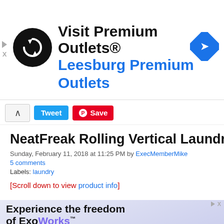[Figure (other): Advertisement banner: circular black logo with loop arrows icon, text 'Visit Premium Outlets®' and 'Leesburg Premium Outlets' in blue, blue diamond navigation icon on right]
[Figure (other): Social sharing bar with caret-up button, Tweet button (blue), Save button (red with Pinterest icon)]
NeatFreak Rolling Vertical Laundry S
Sunday, February 11, 2018 at 11:25 PM by ExecMemberMike
5 comments
Labels: laundry
[Scroll down to view product info]
[Figure (other): Advertisement: 'Experience the freedom of ExoWorks™' with tagline 'Ultrasound workflow. On the go.' on blue-grey gradient background with phone screenshot]